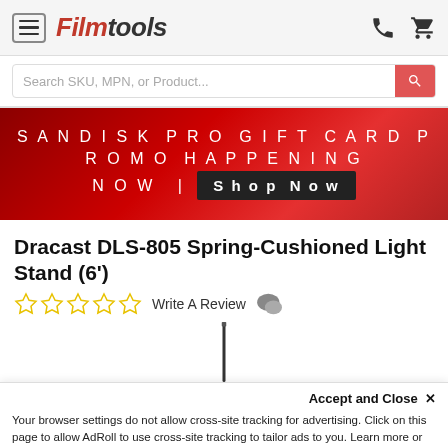Filmtools
Search SKU, MPN, or Product...
[Figure (infographic): SanDisk Pro Gift Card Promo Happening Now | Shop Now promotional banner with red gradient background]
Dracast DLS-805 Spring-Cushioned Light Stand (6')
Write A Review
[Figure (photo): Partial image of a light stand product]
Accept and Close ×
Your browser settings do not allow cross-site tracking for advertising. Click on this page to allow AdRoll to use cross-site tracking to tailor ads to you. Learn more or opt out of this AdRoll tracking by clicking here. This message only appears once.